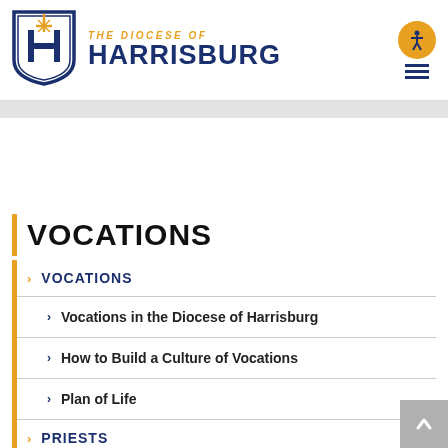[Figure (logo): The Diocese of Harrisburg shield logo with stylized H and cross, orange and navy blue colors]
THE DIOCESE OF HARRISBURG
VOCATIONS
> VOCATIONS
> Vocations in the Diocese of Harrisburg
> How to Build a Culture of Vocations
> Plan of Life
> PRIESTS